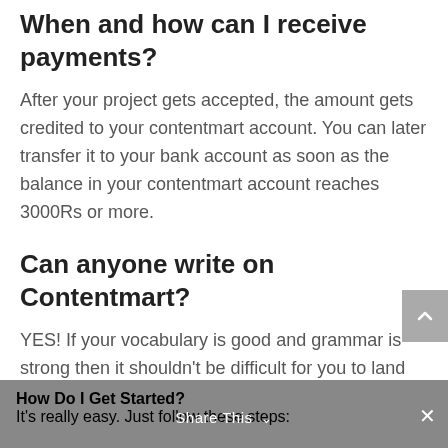When and how can I receive payments?
After your project gets accepted, the amount gets credited to your contentmart account. You can later transfer it to your bank account as soon as the balance in your contentmart account reaches 3000Rs or more.
Can anyone write on Contentmart?
YES! If your vocabulary is good and grammar is strong then it shouldn't be difficult for you to land up with writing projects on Contentmart.
How Do I Get Started?
It's really easy. Just follow these steps:
Share This